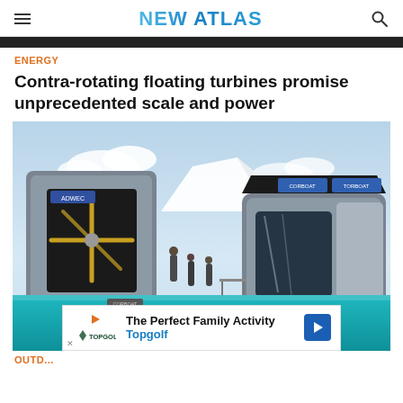NEW ATLAS
ENERGY
Contra-rotating floating turbines promise unprecedented scale and power
[Figure (photo): Photo of contra-rotating floating wind turbine units displayed at an exhibition, mounted on a teal/turquoise platform. Large industrial grey turbine housings visible with rotor blades inside. People visible in background. An advertisement overlay for Topgolf appears at the bottom of the image.]
OUTD...